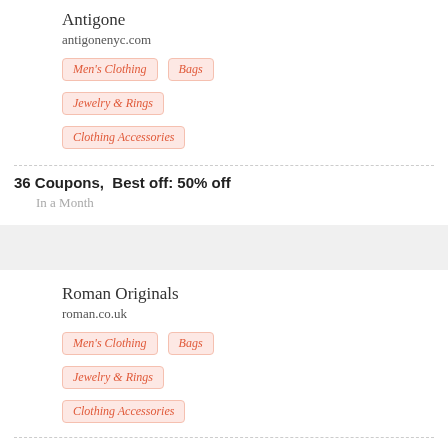Antigone
antigonenyc.com
Men's Clothing
Bags
Jewelry & Rings
Clothing Accessories
36 Coupons,  Best off: 50% off
In a Month
Roman Originals
roman.co.uk
Men's Clothing
Bags
Jewelry & Rings
Clothing Accessories
47 Coupons  Best off: 60% off